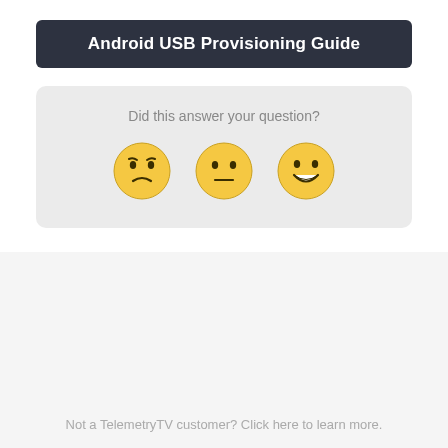Android USB Provisioning Guide
Did this answer your question?
[Figure (illustration): Three emoji faces: sad/disappointed face, neutral face, and happy/grinning face used as feedback rating buttons]
Not a TelemetryTV customer? Click here to learn more.